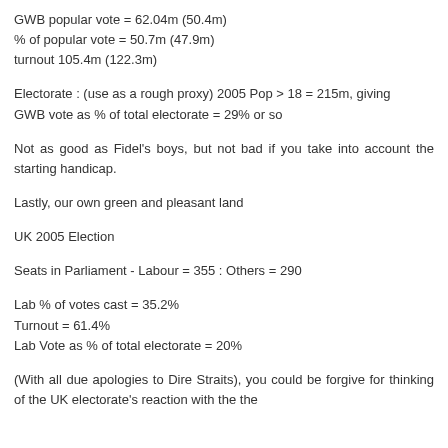GWB popular vote = 62.04m (50.4m)
% of popular vote = 50.7m (47.9m)
turnout 105.4m (122.3m)
Electorate : (use as a rough proxy) 2005 Pop > 18 = 215m, giving
GWB vote as % of total electorate = 29% or so
Not as good as Fidel's boys, but not bad if you take into account the starting handicap.
Lastly, our own green and pleasant land
UK 2005 Election
Seats in Parliament - Labour = 355 : Others = 290
Lab % of votes cast = 35.2%
Turnout = 61.4%
Lab Vote as % of total electorate = 20%
(With all due apologies to Dire Straits), you could be forgive for thinking of the UK electorate's reaction with the the